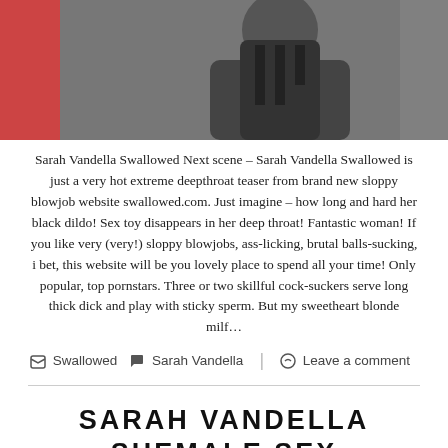[Figure (photo): Partial photo of a woman in a black outfit against a dark background]
Sarah Vandella Swallowed Next scene – Sarah Vandella Swallowed is just a very hot extreme deepthroat teaser from brand new sloppy blowjob website swallowed.com. Just imagine – how long and hard her black dildo! Sex toy disappears in her deep throat! Fantastic woman! If you like very (very!) sloppy blowjobs, ass-licking,  brutal balls-sucking, i bet, this website will be you lovely place to spend all your time! Only popular, top pornstars. Three or two skillful cock-suckers serve long thick dick and play with sticky sperm.  But my sweetheart blonde milf…
Swallowed  Sarah Vandella  Leave a comment
SARAH VANDELLA SHEMALE SEX VENUS LUX
December 5, 2016  Piter